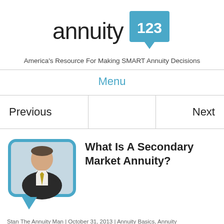[Figure (logo): Annuity123 logo with teal speech bubble badge containing '123']
America's Resource For Making SMART Annuity Decisions
Menu
Previous
Next
[Figure (photo): Headshot of a man in a dark suit with a yellow tie, inside a teal rounded speech bubble frame]
What Is A Secondary Market Annuity?
Stan The Annuity Man | October 31, 2013 | Annuity Basics, Annuity